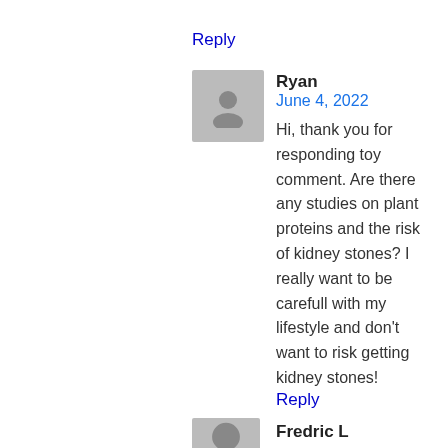Reply
[Figure (illustration): Gray placeholder avatar icon with a person silhouette]
Ryan
June 4, 2022
Hi, thank you for responding toy comment. Are there any studies on plant proteins and the risk of kidney stones? I really want to be carefull with my lifestyle and don't want to risk getting kidney stones!
Reply
[Figure (illustration): Gray placeholder avatar icon with a person silhouette]
Fredric L